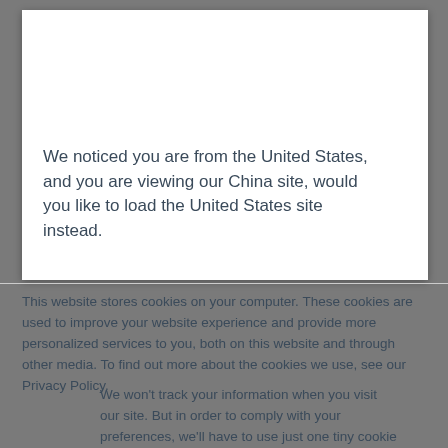We noticed you are from the United States, and you are viewing our China site, would you like to load the United States site instead.
This website stores cookies on your computer. These cookies are used to improve your website experience and provide more personalized services to you, both on this website and through other media. To find out more about the cookies we use, see our Privacy Policy.
We won't track your information when you visit our site. But in order to comply with your preferences, we'll have to use just one tiny cookie so that you're not asked to make this choice again.